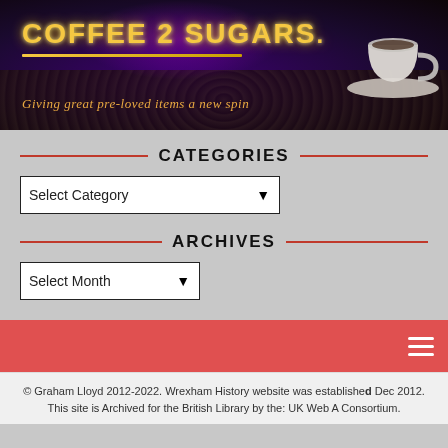[Figure (screenshot): Coffee 2 Sugars website banner with neon-style text logo 'COFFEE 2 SUGARS', a coffee cup image on the right, and tagline 'Giving great pre-loved items a new spin']
CATEGORIES
Select Category
ARCHIVES
Select Month
© Graham Lloyd 2012-2022. Wrexham History website was established Dec 2012. This site is Archived for the British Library by the: UK Web A Consortium.